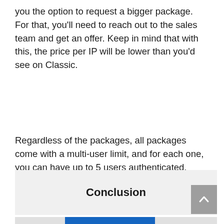you the option to request a bigger package. For that, you'll need to reach out to the sales team and get an offer. Keep in mind that with this, the price per IP will be lower than you'd see on Classic.
Regardless of the packages, all packages come with a multi-user limit, and for each one, you can have up to 5 users authenticated.
Conclusion